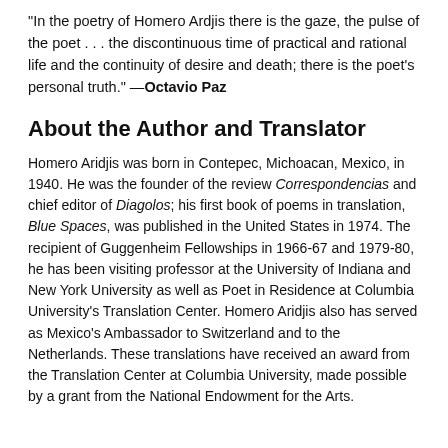"In the poetry of Homero Ardjis there is the gaze, the pulse of the poet . . . the discontinuous time of practical and rational life and the continuity of desire and death; there is the poet's personal truth." —Octavio Paz
About the Author and Translator
Homero Aridjis was born in Contepec, Michoacan, Mexico, in 1940. He was the founder of the review Correspondencias and chief editor of Diagolos; his first book of poems in translation, Blue Spaces, was published in the United States in 1974. The recipient of Guggenheim Fellowships in 1966-67 and 1979-80, he has been visiting professor at the University of Indiana and New York University as well as Poet in Residence at Columbia University's Translation Center. Homero Aridjis also has served as Mexico's Ambassador to Switzerland and to the Netherlands. These translations have received an award from the Translation Center at Columbia University, made possible by a grant from the National Endowment for the Arts.